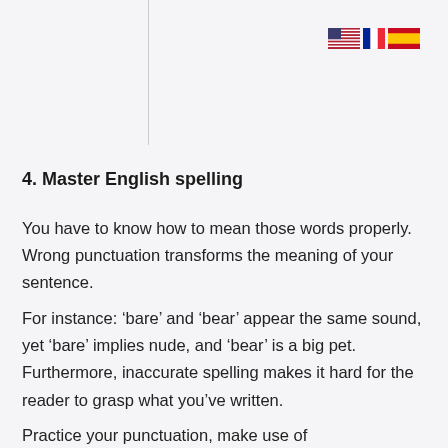[Figure (illustration): Three flag icons: US flag, French flag, Spanish flag arranged horizontally in the top-right corner]
4. Master English spelling
You have to know how to mean those words properly. Wrong punctuation transforms the meaning of your sentence.
For instance: ‘bare’ and ‘bear’ appear the same sound, yet ‘bare’ implies nude, and ‘bear’ is a big pet. Furthermore, inaccurate spelling makes it hard for the reader to grasp what you’ve written.
Practice your punctuation, make use of